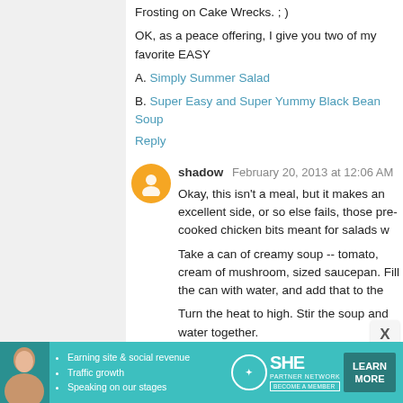Frosting on Cake Wrecks. ; )
OK, as a peace offering, I give you two of my favorite EASY
A. Simply Summer Salad
B. Super Easy and Super Yummy Black Bean Soup
Reply
shadow  February 20, 2013 at 12:06 AM
Okay, this isn't a meal, but it makes an excellent side, or so else fails, those pre-cooked chicken bits meant for salads w
Take a can of creamy soup -- tomato, cream of mushroom, sized saucepan. Fill the can with water, and add that to the
Turn the heat to high. Stir the soup and water together.
While it heats, take the soup can again, and fill it with rice, t
RIGHT when the soup/water mix starts to bubble, put the r cover it with a lid.
Leave it the heck alone for five minutes.
[Figure (infographic): SHE Partner Network advertisement banner with teal background, photo of woman, bullet points about earning site & social revenue, traffic growth, speaking on our stages, SHE logo, and LEARN MORE button]